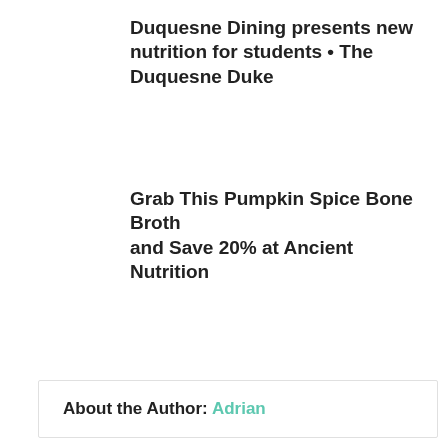Duquesne Dining presents new nutrition for students • The Duquesne Duke
Grab This Pumpkin Spice Bone Broth and Save 20% at Ancient Nutrition
Chief of Party, Zambia Integrated HIV & Health – Zambia
About the Author: Adrian